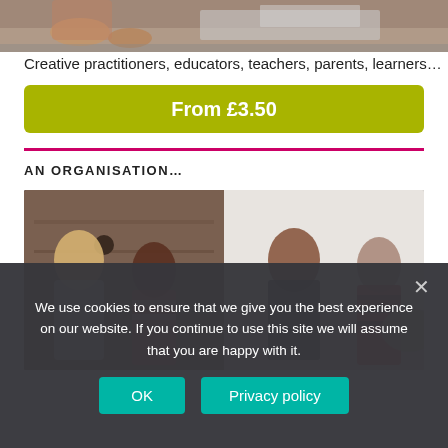[Figure (photo): Close-up photo of hands doing a craft activity with foil or paper materials on a table]
Creative practitioners, educators, teachers, parents, learners…
[Figure (other): Green rounded button showing price 'From £3.50']
AN ORGANISATION…
[Figure (photo): Two-panel photo showing young people engaged in a workshop or learning activity, sitting on the floor and working together]
We use cookies to ensure that we give you the best experience on our website. If you continue to use this site we will assume that you are happy with it.
OK
Privacy policy